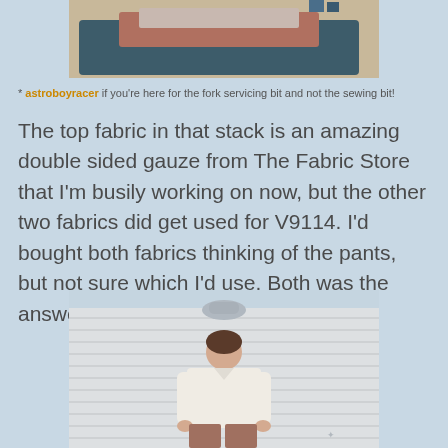[Figure (photo): Top portion of a photo showing what appears to be a teal/dark colored surface with fabric stacked on it, including a pink/rust colored fabric piece, against a light background]
* astroboyracer if you're here for the fork servicing bit and not the sewing bit!
The top fabric in that stack is an amazing double sided gauze from The Fabric Store that I'm busily working on now, but the other two fabrics did get used for V9114. I'd bought both fabrics thinking of the pants, but not sure which I'd use. Both was the answer.
[Figure (photo): A woman smiling, standing in front of a white horizontal siding wall with a light fixture above. She is wearing a white/cream button-up blouse and rust/mauve colored wide-leg pants, with her hands at her sides.]